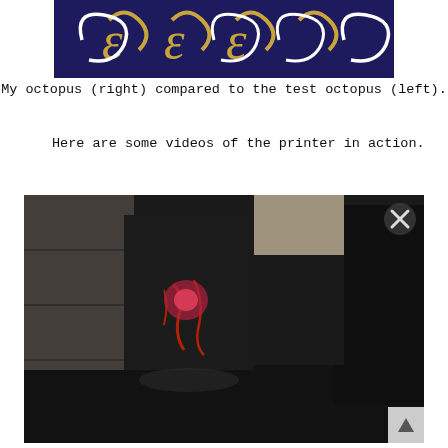[Figure (photo): Close-up photo of octopus figurines on a dark blue background with swirl designs. Two octopus shapes visible.]
My octopus (right) compared to the test octopus (left).
Here are some videos of the printer in action.
[Figure (screenshot): A video screenshot showing a blurry image of a 3D printer in action with dark surroundings and an X close button in the upper right corner.]